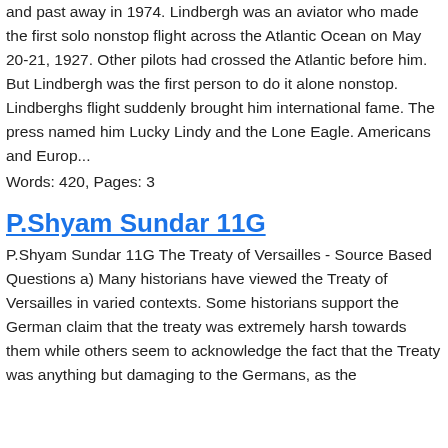and past away in 1974. Lindbergh was an aviator who made the first solo nonstop flight across the Atlantic Ocean on May 20-21, 1927. Other pilots had crossed the Atlantic before him. But Lindbergh was the first person to do it alone nonstop. Lindberghs flight suddenly brought him international fame. The press named him Lucky Lindy and the Lone Eagle. Americans and Europ...
Words: 420, Pages: 3
P.Shyam Sundar 11G
P.Shyam Sundar 11G The Treaty of Versailles - Source Based Questions a) Many historians have viewed the Treaty of Versailles in varied contexts. Some historians support the German claim that the treaty was extremely harsh towards them while others seem to acknowledge the fact that the Treaty was anything but damaging to the Germans, as the